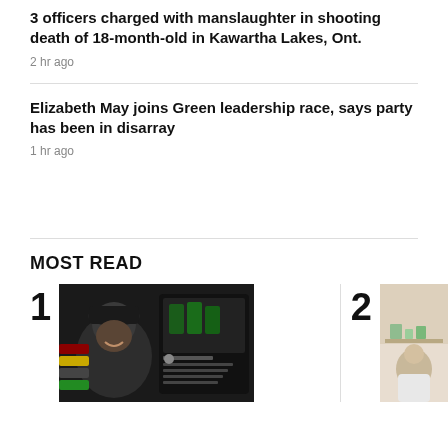3 officers charged with manslaughter in shooting death of 18-month-old in Kawartha Lakes, Ont.
2 hr ago
Elizabeth May joins Green leadership race, says party has been in disarray
1 hr ago
MOST READ
[Figure (photo): Most read item 1: Photo showing a man in a cap smiling, alongside a social media post screenshot with sports imagery]
[Figure (photo): Most read item 2: Partial photo, appears to show a person in a room]